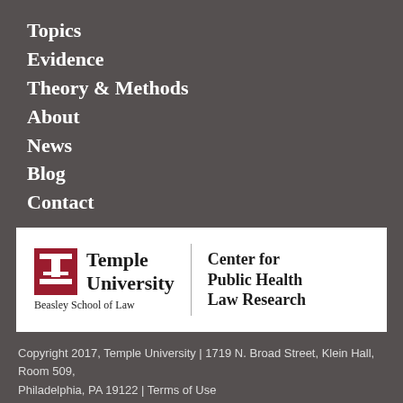Topics
Evidence
Theory & Methods
About
News
Blog
Contact
[Figure (logo): Temple University Beasley School of Law | Center for Public Health Law Research logo]
Copyright 2017, Temple University | 1719 N. Broad Street, Klein Hall, Room 509, Philadelphia, PA 19122 | Terms of Use